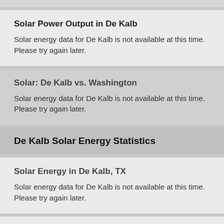Solar Power Output in De Kalb
Solar energy data for De Kalb is not available at this time. Please try again later.
Solar: De Kalb vs. Washington
Solar energy data for De Kalb is not available at this time. Please try again later.
De Kalb Solar Energy Statistics
Solar Energy in De Kalb, TX
Solar energy data for De Kalb is not available at this time. Please try again later.
Solar Power in De Kalb, TX
Solar power data for De Kalb is not available at this time. Please